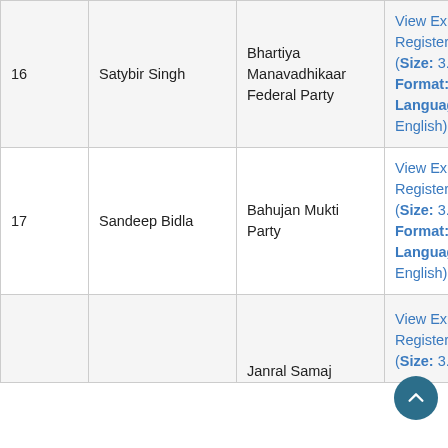| # | Name | Party | Expenditure Register |  |
| --- | --- | --- | --- | --- |
| 16 | Satybir Singh | Bhartiya Manavadhikaar Federal Party | View Expediture Register (Size: 3.15 MB, Format: PDF, Language: English) |  |
| 17 | Sandeep Bidla | Bahujan Mukti Party | View Expediture Register (Size: 3.03 MB, Format: PDF, Language: English) |  |
|  |  | Janral Samaj... | View Expediture Register (Size: 3.66 |  |